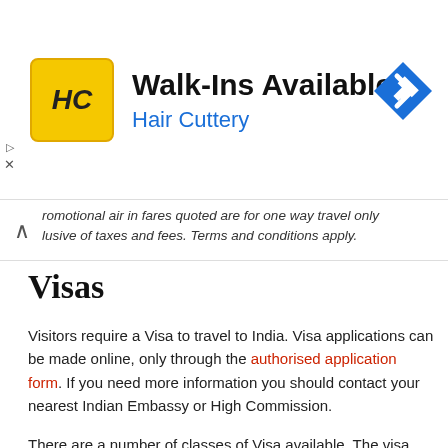[Figure (other): Hair Cuttery advertisement banner with yellow HC logo, 'Walk-Ins Available' headline, 'Hair Cuttery' subtitle in blue, and a blue navigation/directions icon on the right]
romotional air in fares quoted are for one way travel only lusive of taxes and fees. Terms and conditions apply.
Visas
Visitors require a Visa to travel to India. Visa applications can be made online, only through the authorised application form. If you need more information you should contact your nearest Indian Embassy or High Commission.
There are a number of classes of Visa available. The visa cost depends on the type /duration of visa requested.
If you are of Indian descent, you may be eligible for an Overseas Citizen Of India card which gives you lifelong access to India. Your spouse may also be eligible.